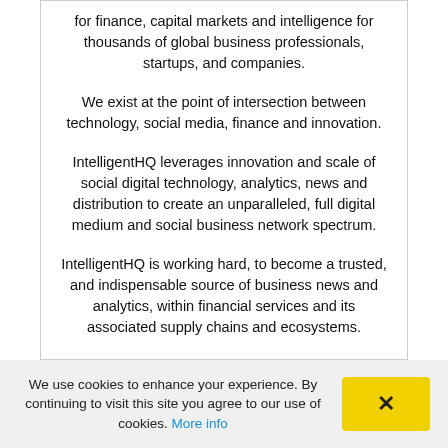for finance, capital markets and intelligence for thousands of global business professionals, startups, and companies.
We exist at the point of intersection between technology, social media, finance and innovation.
IntelligentHQ leverages innovation and scale of social digital technology, analytics, news and distribution to create an unparalleled, full digital medium and social business network spectrum.
IntelligentHQ is working hard, to become a trusted, and indispensable source of business news and analytics, within financial services and its associated supply chains and ecosystems.
We use cookies to enhance your experience. By continuing to visit this site you agree to our use of cookies. More info